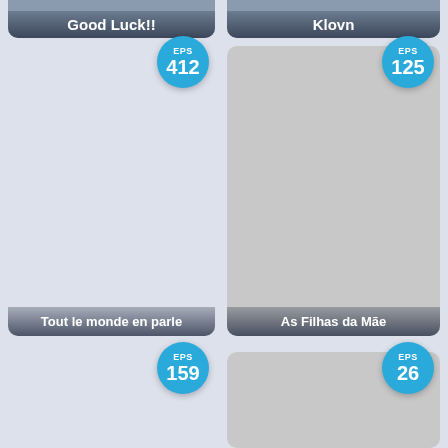[Figure (screenshot): Top-left card showing partial TV show thumbnail with title 'Good Luck!!']
[Figure (screenshot): Top-right card showing partial TV show thumbnail with title 'Klovn']
[Figure (screenshot): Middle-left card for TV show 'Tout le monde en parle' with EPS badge showing 412]
[Figure (screenshot): Middle-right card for TV show 'As Filhas da Mãe' with EPS badge showing 125, gray thumbnail]
[Figure (screenshot): Bottom-left card with EPS badge showing 159, light blue background]
[Figure (screenshot): Bottom-right card with EPS badge showing 26, gray thumbnail]